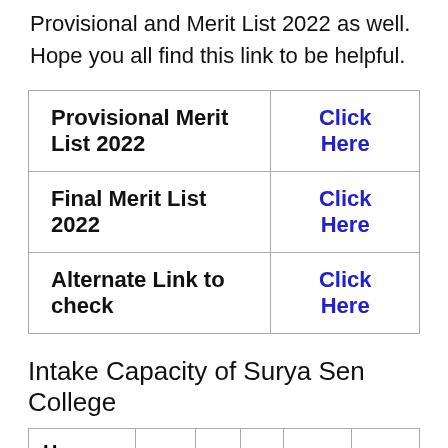Provisional and Merit List 2022 as well. Hope you all find this link to be helpful.
|  |  |
| --- | --- |
| Provisional Merit List 2022 | Click Here |
| Final Merit List 2022 | Click Here |
| Alternate Link to check | Click Here |
Intake Capacity of Surya Sen College
| Honours / Program | GEN | SC | ST | OBC-A | OBC-B |
| --- | --- | --- | --- | --- | --- |